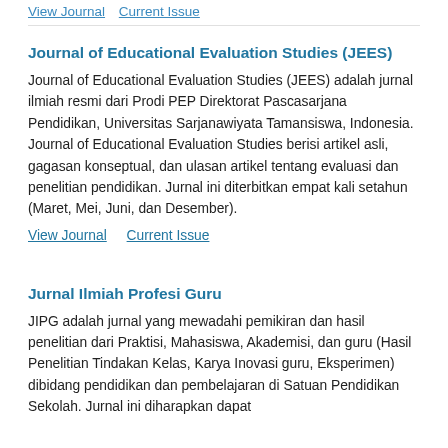View Journal   Current Issue
Journal of Educational Evaluation Studies (JEES)
Journal of Educational Evaluation Studies (JEES) adalah jurnal ilmiah resmi dari Prodi PEP Direktorat Pascasarjana Pendidikan, Universitas Sarjanawiyata Tamansiswa, Indonesia. Journal of Educational Evaluation Studies berisi artikel asli, gagasan konseptual, dan ulasan artikel tentang evaluasi dan penelitian pendidikan. Jurnal ini diterbitkan empat kali setahun (Maret, Mei, Juni, dan Desember).
View Journal   Current Issue
Jurnal Ilmiah Profesi Guru
JIPG adalah jurnal yang mewadahi pemikiran dan hasil penelitian dari Praktisi, Mahasiswa, Akademisi, dan guru (Hasil Penelitian Tindakan Kelas, Karya Inovasi guru, Eksperimen) dibidang pendidikan dan pembelajaran di Satuan Pendidikan Sekolah. Jurnal ini diharapkan dapat